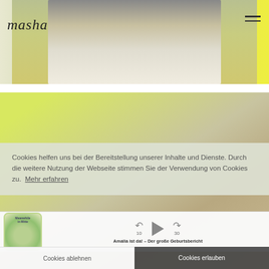[Figure (photo): Top portion of a blog/website screenshot showing a person in white shirt against yellow-green background, with 'masha' script logo in top left and hamburger menu icon top right]
[Figure (photo): Lower portion of blog showing mid-section of person holding a clear bag against yellow/green background, overlaid with semi-transparent cookie consent banner and podcast player bar]
Cookies helfen uns bei der Bereitstellung unserer Inhalte und Dienste. Durch die weitere Nutzung der Webseite stimmen Sie der Verwendung von Cookies zu.  Mehr erfahren
Amalia ist da! – Der große Geburtsbericht
Cookies ablehnen
Cookies erlauben